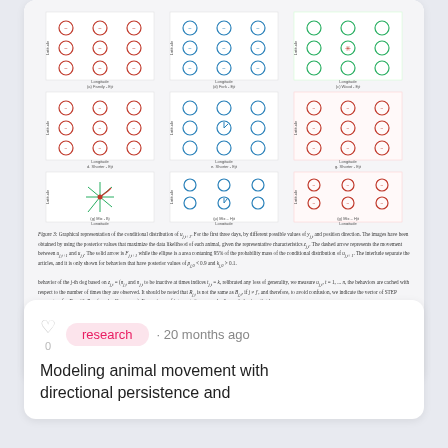[Figure (illustration): Grid of 9 scientific figures showing circular/directional plots arranged in 3x3 layout, representing conditional distributions for animal movement model]
Figure 3: Graphical representation of the conditional distribution of u_{j,t+1}. For the first three days, by different possible values of y_{j,t} and position direction. The images have been obtained by using the posterior values that maximize the data likelihood of each animal, given the representative characteristics z_{j,t}. The dashed arrow represents the movement between u_{j,t+1} and u_{j,t}. The solid arrow is F_{j,t+1} while the ellipse is a contour containing 95% of the probability mass of the conditional distribution of u_{j,t+1}. The interlude separate the articles, and it is only shown for behaviors that have posterior values of p_{j,0} < 0.9 and k_{j,0} > 0.1.
behavior of the j-th dog based on z_{j,t} = (n_{j,t} and n_{j,t} to be inactive at times indices t_{j,t} = k, relibrated any loss of generality, we measure u_{j,t}, t = 1, ... n, the behaviors are cached with respect to the number of times they are observed. It should be noted that R_{j,t} is not the same as B_{j,t} if j ≠ j', and therefore, to avoid confusion, we indicate the vector of STEP parameters for B_{jt} with R_j = (a_{j,t}, k_{jt}, K_{jt}, c_{j,t}, r_{j,t}). For easiness of interpretation, we only discuss behaviors that have
11
Gianluca Mastrantonio
, et al.
· share
research · 20 months ago
Modeling animal movement with directional persistence and